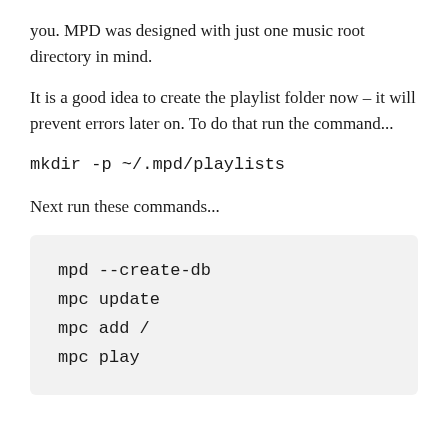you. MPD was designed with just one music root directory in mind.
It is a good idea to create the playlist folder now – it will prevent errors later on. To do that run the command...
mkdir -p ~/.mpd/playlists
Next run these commands...
mpd --create-db
mpc update
mpc add /
mpc play